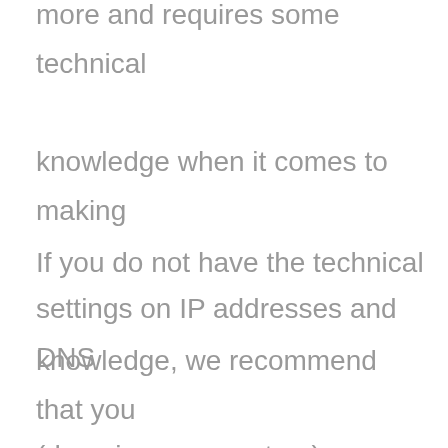more and requires some technical knowledge when it comes to making settings on IP addresses and DNS (domain name system).
If you do not have the technical knowledge, we recommend that you leave this to a web host who takes care of all this for you.